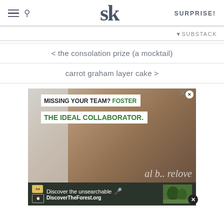SK logo | SURPRISE!
◀ SUBSTACK
< the consolation prize (a mocktail)
carrot graham layer cake >
[Figure (photo): Advertisement showing a man petting a cat near a window with text 'MISSING YOUR TEAM? FOSTER THE IDEAL COLLABORATOR.' and a bottom banner for DiscoverTheForest.org saying 'Discover the unsearchable']